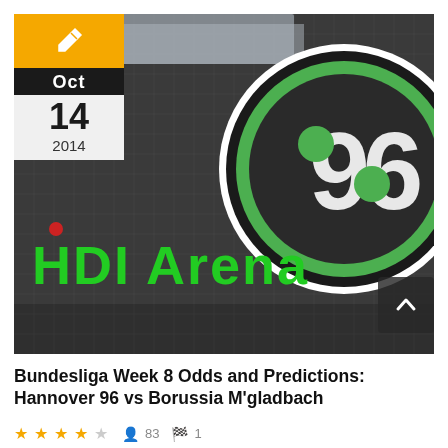[Figure (photo): Photo of the HDI Arena stadium exterior wall showing backlit green letters reading 'HDI Arena' and the Hannover 96 club logo (a green circle with '96' in dark grey) mounted on a dark mesh facade]
Bundesliga Week 8 Odds and Predictions: Hannover 96 vs Borussia M'gladbach
★★★★☆  👤 83  🏁 1